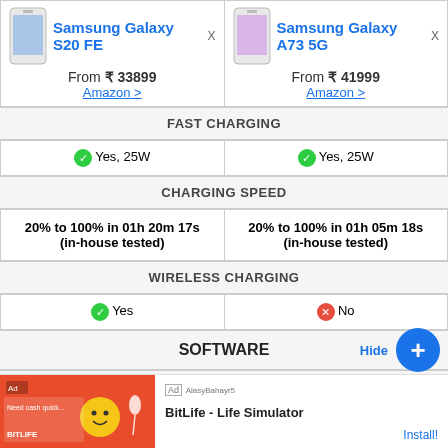| Samsung Galaxy S20 FE | Samsung Galaxy A73 5G |
| --- | --- |
| From ₹ 33899
Amazon > | From ₹ 41999
Amazon > |
| FAST CHARGING | FAST CHARGING |
| ✓ Yes, 25W | ✓ Yes, 25W |
| CHARGING SPEED | CHARGING SPEED |
| 20% to 100% in 01h 20m 17s (in-house tested) | 20% to 100% in 01h 05m 18s (in-house tested) |
| WIRELESS CHARGING | WIRELESS CHARGING |
| ✓ Yes | ✗ No |
| SOFTWARE | SOFTWARE |
| OPERATING SYSTEM | OPERATING SYSTEM |
[Figure (screenshot): Ad banner for BitLife - Life Simulator app with orange background and game graphics]